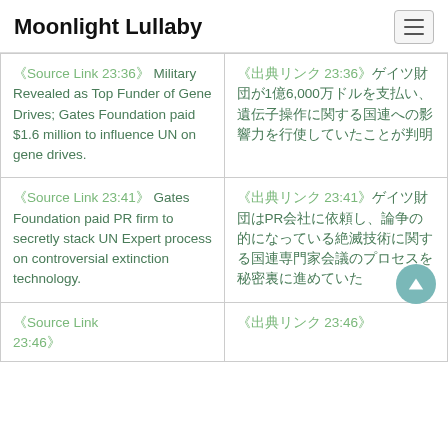Moonlight Lullaby
| English | Japanese |
| --- | --- |
| 《Source Link 23:36》 Military Revealed as Top Funder of Gene Drives; Gates Foundation paid $1.6 million to influence UN on gene drives. | 《出典リンク 23:36》ゲイツ財団が1億6,000万ドルを支払い、遺伝子操作に関する国連への影響力を行使していたことが判明 |
| 《Source Link 23:41》 Gates Foundation paid PR firm to secretly stack UN Expert process on controversial extinction technology. | 《出典リンク 23:41》ゲイツ財団はPR会社に依頼し、論争の的になっている絶滅技術に関する国連専門家会議のプロセスを秘密裏に進めていた |
| 《Source Link 23:46》... | 《出典リンク 23:46》 |